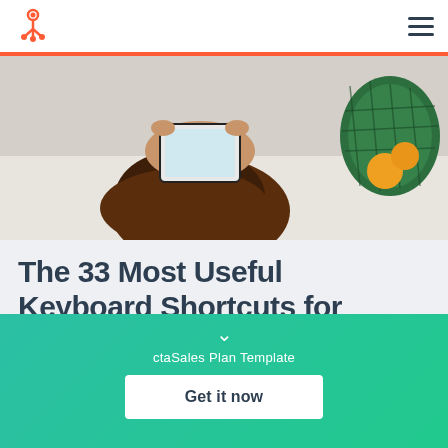HubSpot logo and navigation menu
[Figure (photo): Overhead view of a person with curly hair holding a tablet, lying down, with a green mesh bag of produce beside them]
The 33 Most Useful Keyboard Shortcuts for
ctaSales Plan Template
Get it now